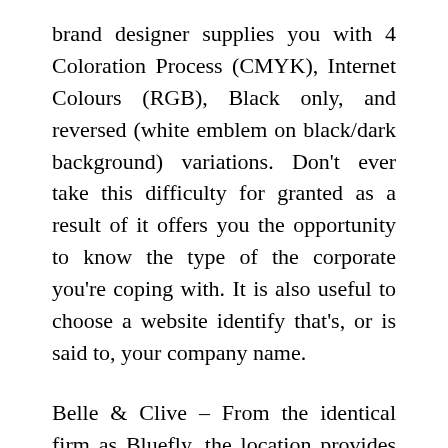brand designer supplies you with 4 Coloration Process (CMYK), Internet Colours (RGB), Black only, and reversed (white emblem on black/dark background) variations. Don't ever take this difficulty for granted as a result of it offers you the opportunity to know the type of the corporate you're coping with. It is also useful to choose a website identify that's, or is said to, your company name.
Belle & Clive – From the identical firm as Bluefly, the location provides clothes and accessories for both men and women. Do not forget that while the graphic design could entice their consideration, it is the robust message that is communicated that will enhance your banner ad's effectiveness. Some hosting corporations provide website ongoing technical assist and upkeep